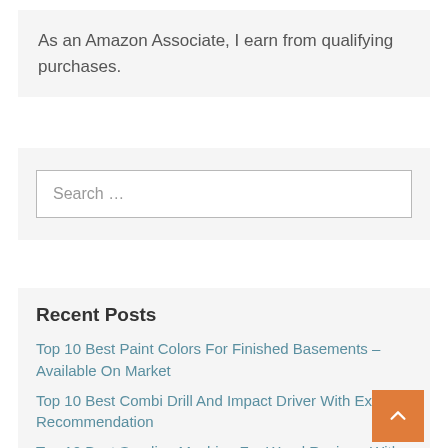As an Amazon Associate, I earn from qualifying purchases.
Search …
Recent Posts
Top 10 Best Paint Colors For Finished Basements – Available On Market
Top 10 Best Combi Drill And Impact Driver With Expert Recommendation
Top 10 Best Sanding Machine For Wood Reviews With Products List